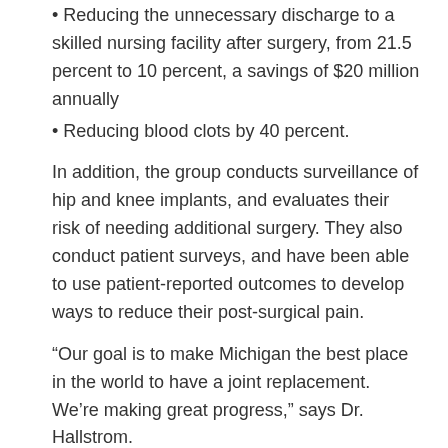Reducing the unnecessary discharge to a skilled nursing facility after surgery, from 21.5 percent to 10 percent, a savings of $20 million annually
Reducing blood clots by 40 percent.
In addition, the group conducts surveillance of hip and knee implants, and evaluates their risk of needing additional surgery. They also conduct patient surveys, and have been able to use patient-reported outcomes to develop ways to reduce their post-surgical pain.
“Our goal is to make Michigan the best place in the world to have a joint replacement. We’re making great progress,” says Dr. Hallstrom.
If you found this post helpful, you might want to read these:
How to Find High-Quality Specialty Care
Blue Cross is Reining in Health Care Costs and